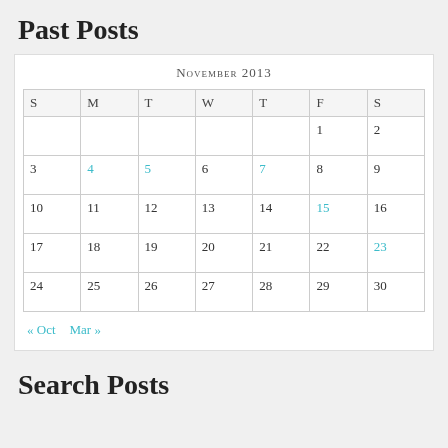Past Posts
| S | M | T | W | T | F | S |
| --- | --- | --- | --- | --- | --- | --- |
|  |  |  |  |  | 1 | 2 |
| 3 | 4 | 5 | 6 | 7 | 8 | 9 |
| 10 | 11 | 12 | 13 | 14 | 15 | 16 |
| 17 | 18 | 19 | 20 | 21 | 22 | 23 |
| 24 | 25 | 26 | 27 | 28 | 29 | 30 |
« Oct   Mar »
Search Posts